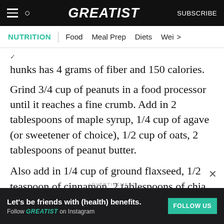GREATIST | SUBSCRIBE
NUTRITION | Food  Meal Prep  Diets  Wei >
hunks has 4 grams of fiber and 150 calories.
Grind 3/4 cup of peanuts in a food processor until it reaches a fine crumb. Add in 2 tablespoons of maple syrup, 1/4 cup of agave (or sweetener of choice), 1/2 cup of oats, 2 tablespoons of peanut butter.
Also add in 1/4 cup of ground flaxseed, 1/2 teaspoon of cinnamon, 2 tablespoons of chia
ADVERTISEMENT
Let's be friends with (health) benefits. Follow GREATIST on Instagram  FOLLOW US